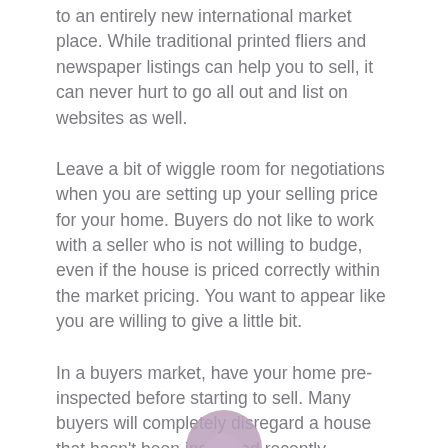to an entirely new international market place. While traditional printed fliers and newspaper listings can help you to sell, it can never hurt to go all out and list on websites as well.
Leave a bit of wiggle room for negotiations when you are setting up your selling price for your home. Buyers do not like to work with a seller who is not willing to budge, even if the house is priced correctly within the market pricing. You want to appear like you are willing to give a little bit.
In a buyers market, have your home pre-inspected before starting to sell. Many buyers will completely disregard a house that hasn't been inspected recently. Investing time and energy into a house, only to find problems before closing, is a big turn off to buyers and most prefer to avoid that headache entirely.
[Figure (logo): Partial view of a purple/mauve circular logo at the bottom center of the page]